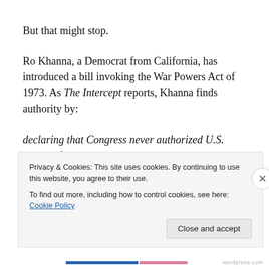But that might stop.
Ro Khanna, a Democrat from California, has introduced a bill invoking the War Powers Act of 1973. As The Intercept reports, Khanna finds authority by:
declaring that Congress never authorized U.S. support for the coalition in Yemen and directing President Donald Trump to withdraw U.S. troops from “hostilities” against the Houthis, the Iranian-backed rebel group at war with Saudi Arabia and the UAE. The resolution would not affect U.S.
Privacy & Cookies: This site uses cookies. By continuing to use this website, you agree to their use.
To find out more, including how to control cookies, see here: Cookie Policy
Close and accept